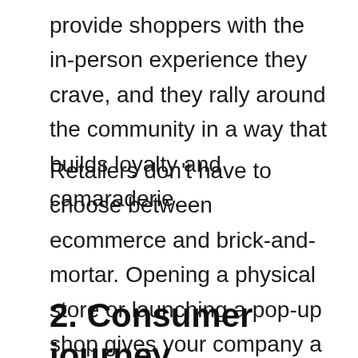provide shoppers with the in-person experience they crave, and they rally around the community in a way that builds loyalty and camaraderie.
Retailers don't have to choose between ecommerce and brick-and-mortar. Opening a physical store or launching a pop-up shop gives your company a way to engage with the local community and mix up how customers interact with your brand and products.
2. Consumer journey